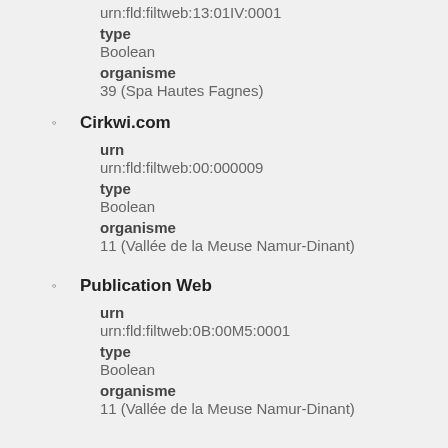urn:fld:filtweb:13:01IV:0001
type
Boolean
organisme
39 (Spa Hautes Fagnes)
Cirkwi.com
urn
urn:fld:filtweb:00:000009
type
Boolean
organisme
11 (Vallée de la Meuse Namur-Dinant)
Publication Web
urn
urn:fld:filtweb:0B:00M5:0001
type
Boolean
organisme
11 (Vallée de la Meuse Namur-Dinant)